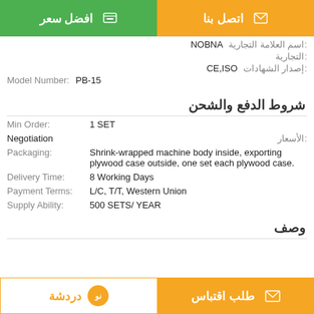افضل سعر | اتصل بنا
اسم العلامة التجارية: NOBNA
إصدار الشهادات: CE,ISO
Model Number: PB-15
شروط الدفع والشحن
Min Order: 1 SET
الأسعار: Negotiation
Packaging: Shrink-wrapped machine body inside, exporting plywood case outside, one set each plywood case.
Delivery Time: 8 Working Days
Payment Terms: L/C, T/T, Western Union
Supply Ability: 500 SETS/ YEAR
وصف
دردشة | طلب اقتباس